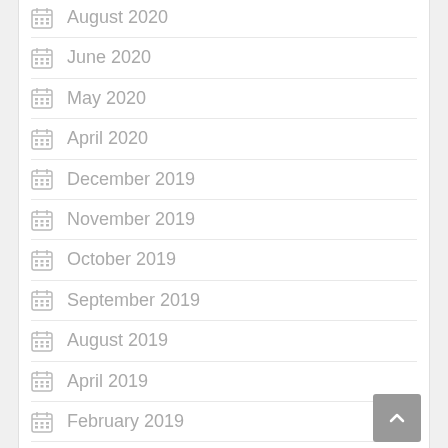August 2020
June 2020
May 2020
April 2020
December 2019
November 2019
October 2019
September 2019
August 2019
April 2019
February 2019
March 2018